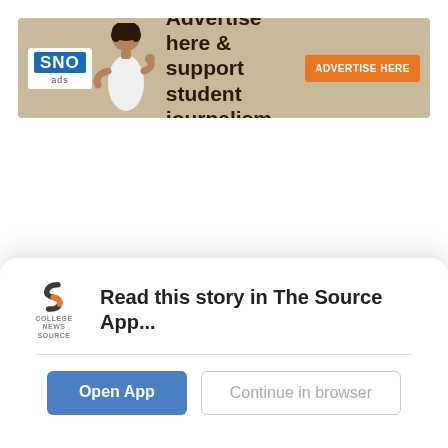[Figure (infographic): SNO Ads banner advertisement: logo with 'SNO ads', person pointing, text 'Advertise here & support student journalism', orange button 'ADVERTISE HERE']
[Figure (logo): College News Source app logo (stylized S in orange and dark grey)]
Read this story in The Source App...
Open App
Continue in browser